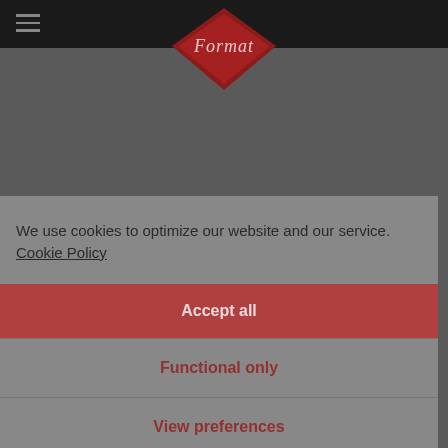[Figure (logo): Format brand logo — red diamond/rhombus shape with italic script text 'Format' in white/light color]
We use cookies to optimize our website and our service. Cookie Policy
Accept all
Functional only
View preferences